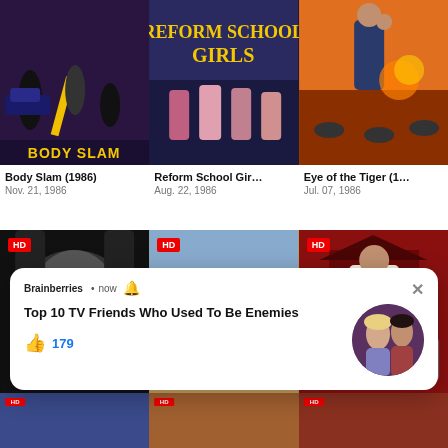[Figure (screenshot): Movie grid screenshot showing Body Slam (1986), Reform School Girls, Eye of the Tiger posters in top row; Torment, train western, and action movie posters in second row with HD badges; notification popup overlay from Brainberries about Top 10 TV Friends Who Used To Be Enemies with 179 likes; partial bottom row of three more movie posters]
Body Slam (1986)
Nov. 21, 1986
Reform School Gir…
Aug. 22, 1986
Eye of the Tiger (1…
Jul. 07, 1986
Torm
Apr. 0
Brainberries • now 🔔
Top 10 TV Friends Who Used To Be Enemies
179